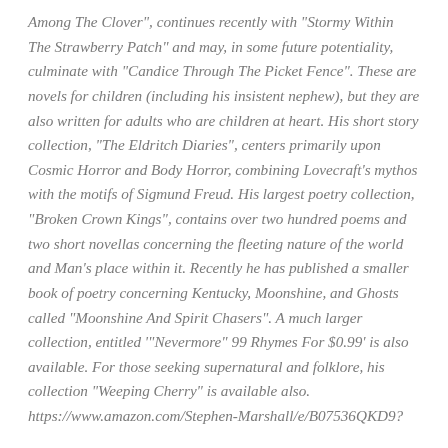Among The Clover", continues recently with "Stormy Within The Strawberry Patch" and may, in some future potentiality, culminate with "Candice Through The Picket Fence". These are novels for children (including his insistent nephew), but they are also written for adults who are children at heart. His short story collection, "The Eldritch Diaries", centers primarily upon Cosmic Horror and Body Horror, combining Lovecraft's mythos with the motifs of Sigmund Freud. His largest poetry collection, "Broken Crown Kings", contains over two hundred poems and two short novellas concerning the fleeting nature of the world and Man's place within it. Recently he has published a smaller book of poetry concerning Kentucky, Moonshine, and Ghosts called "Moonshine And Spirit Chasers". A much larger collection, entitled '"Nevermore" 99 Rhymes For $0.99' is also available. For those seeking supernatural and folklore, his collection "Weeping Cherry" is available also. https://www.amazon.com/Stephen-Marshall/e/B07536QKD9?